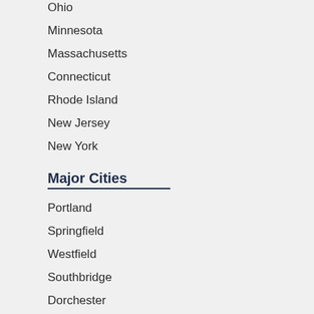Ohio
Minnesota
Massachusetts
Connecticut
Rhode Island
New Jersey
New York
Major Cities
Portland
Springfield
Westfield
Southbridge
Dorchester
Boston